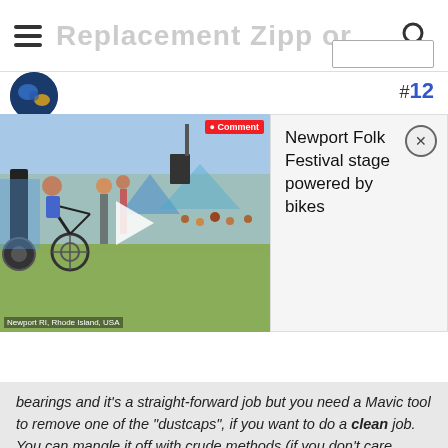Replacement Zipp or Mavic hub...
[Figure (screenshot): Video thumbnail showing people with bikes at Newport Folk Festival outdoor event with play button overlay]
Newport Folk Festival stage powered by bikes
bearings and it's a straight-forward job but you need a Mavic tool to remove one of the "dustcaps", if you want to do a clean job. You can mangle it off with crude methods (if you don't care about re-using it, since it will be ruined).
Can you tell me more about this operation? I'd like to service my Mavic 500 hubs at some point in the near future. (Still using the original sealed bearings.) I figured I could use a small pin spanner on the dust cap, but this doesn't sound like it's the case. What is special about the Mavic tool?